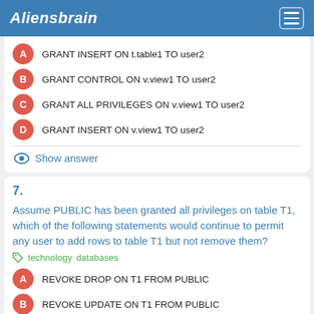Aliensbrain
A  GRANT INSERT ON t.table1 TO user2
B  GRANT CONTROL ON v.view1 TO user2
C  GRANT ALL PRIVILEGES ON v.view1 TO user2
D  GRANT INSERT ON v.view1 TO user2
Show answer
7.
Assume PUBLIC has been granted all privileges on table T1, which of the following statements would continue to permit any user to add rows to table T1 but not remove them?
technology  databases
A  REVOKE DROP ON T1 FROM PUBLIC
B  REVOKE UPDATE ON T1 FROM PUBLIC